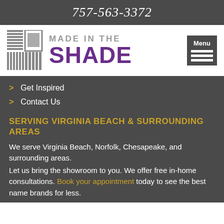757-563-3372
[Figure (logo): Made in the Shade logo with grid/blinds icon on left, text 'MADE IN THE SHADE' in grey and purple, and Menu button on right]
Get Inspired
Contact Us
SERVING VIRGINIA BEACH & SURROUNDING AREAS
We serve Virginia Beach, Norfolk, Chesapeake, and surrounding areas.
Let us bring the showroom to you. We offer free in-home consultations. Book your appointment today to see the best name brands for less.